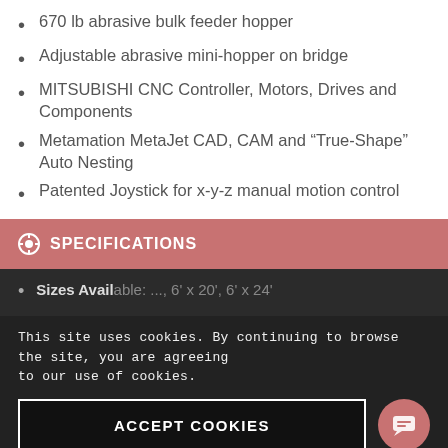670 lb abrasive bulk feeder hopper
Adjustable abrasive mini-hopper on bridge
MITSUBISHI CNC Controller, Motors, Drives and Components
Metamation MetaJet CAD, CAM and “True-Shape” Auto Nesting
Patented Joystick for x-y-z manual motion control
SPECIFICATIONS
This site uses cookies. By continuing to browse the site, you are agreeing to our use of cookies.
Sizes Available: ..., 6' x 20', 6' x 24'
Load...